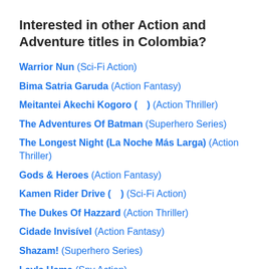Interested in other Action and Adventure titles in Colombia?
Warrior Nun (Sci-Fi Action)
Bima Satria Garuda (Action Fantasy)
Meitantei Akechi Kogoro (　) (Action Thriller)
The Adventures Of Batman (Superhero Series)
The Longest Night (La Noche Más Larga) (Action Thriller)
Gods & Heroes (Action Fantasy)
Kamen Rider Drive (　) (Sci-Fi Action)
The Dukes Of Hazzard (Action Thriller)
Cidade Invisível (Action Fantasy)
Shazam! (Superhero Series)
Layla Hame (Spy Action)